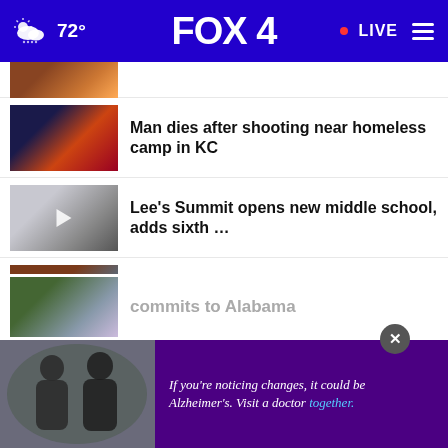FOX 4  72°  LIVE
Man dies after shooting near homeless camp in KC
Lee's Summit opens new middle school, adds sixth …
KC school transforming from eyesore to community …
MO woman can't get headstone for husband until she …
Olympian hoping to start gymnastics program at KU
commits to Alabama
[Figure (screenshot): Advertisement overlay: two people talking, purple background with text 'If you're noticing changes, it could be Alzheimer's. Visit a doctor together.' with a close button]